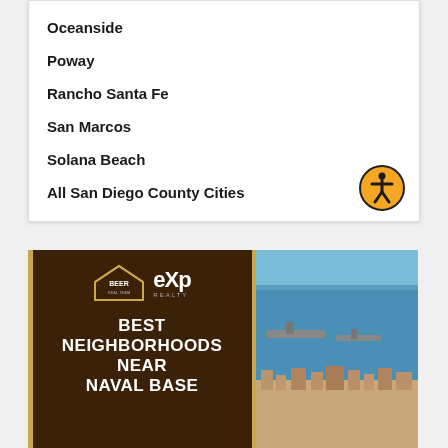Oceanside
Poway
Rancho Santa Fe
San Marcos
Solana Beach
All San Diego County Cities
[Figure (logo): Beer Real Team eXp Realty logo with text: BEST NEIGHBORHOODS NEAR NAVAL BASE, alongside aerial photo of a naval harbor and city]
[Figure (photo): Aerial photograph of a naval base harbor with ships and city in the background]